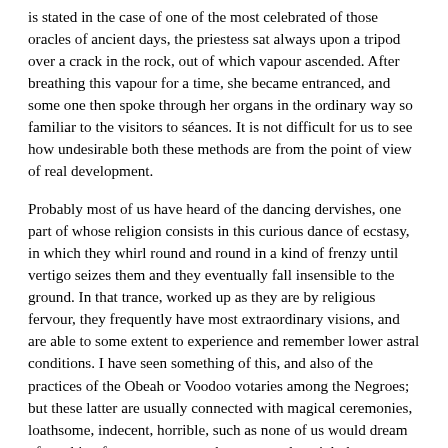is stated in the case of one of the most celebrated of those oracles of ancient days, the priestess sat always upon a tripod over a crack in the rock, out of which vapour ascended. After breathing this vapour for a time, she became entranced, and some one then spoke through her organs in the ordinary way so familiar to the visitors to séances. It is not difficult for us to see how undesirable both these methods are from the point of view of real development.
Probably most of us have heard of the dancing dervishes, one part of whose religion consists in this curious dance of ecstasy, in which they whirl round and round in a kind of frenzy until vertigo seizes them and they eventually fall insensible to the ground. In that trance, worked up as they are by religious fervour, they frequently have most extraordinary visions, and are able to some extent to experience and remember lower astral conditions. I have seen something of this, and also of the practices of the Obeah or Voodoo votaries among the Negroes; but these latter are usually connected with magical ceremonies, loathsome, indecent, horrible, such as none of us would dream of touching for any purpose, whatever results might be promised to us. Yet they certainly do produce results under favourable conditions, though not such results as any of us could possibly wish to obtain. Indeed, none of the methods mentioned so far would at all commend themselves to us, though I have heard of Europeans who have experimented with the Oriental drugs.